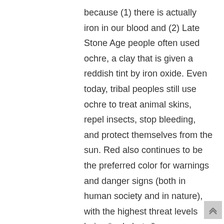because (1) there is actually iron in our blood and (2) Late Stone Age people often used ochre, a clay that is given a reddish tint by iron oxide. Even today, tribal peoples still use ochre to treat animal skins, repel insects, stop bleeding, and protect themselves from the sun. Red also continues to be the preferred color for warnings and danger signs (both in human society and in nature), with the highest threat levels being “red alerts.”
The Egyptians associated Set with red because He is a storm deity. While most Thunder Gods are linked with fertility and kingship due to the part storms usually play in fertilizing crops and other areas…